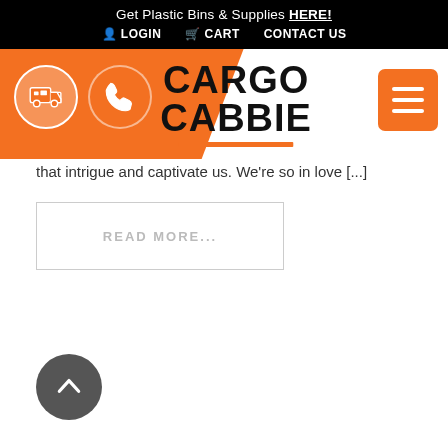Get Plastic Bins & Supplies HERE!
LOGIN   CART   CONTACT US
[Figure (logo): Cargo Cabbie logo with orange background, truck icon, phone icon, and hamburger menu button]
that intrigue and captivate us. We're so in love [...]
READ MORE...